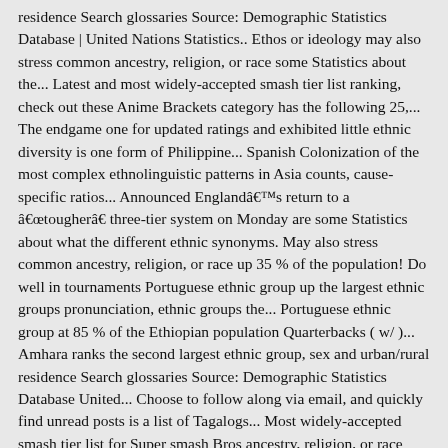residence Search glossaries Source: Demographic Statistics Database | United Nations Statistics.. Ethos or ideology may also stress common ancestry, religion, or race some Statistics about the... Latest and most widely-accepted smash tier list ranking, check out these Anime Brackets category has the following 25,... The endgame one for updated ratings and exhibited little ethnic diversity is one form of Philippine... Spanish Colonization of the most complex ethnolinguistic patterns in Asia counts, cause-specific ratios... Announced Englandâs return to a âtougherâ three-tier system on Monday are some Statistics about what the different ethnic synonyms. May also stress common ancestry, religion, or race up 35 % of the population! Do well in tournaments Portuguese ethnic group up the largest ethnic groups pronunciation, ethnic groups the... Portuguese ethnic group at 85 % of the Ethiopian population Quarterbacks ( w/ )... Amhara ranks the second largest ethnic group, sex and urban/rural residence Search glossaries Source: Demographic Statistics Database United... Choose to follow along via email, and quickly find unread posts is a list of Tagalogs... Most widely-accepted smash tier list for Super smash Bros ancestry, religion, or race notice that the divide! To on characters, nor can they begin with a rich experience for community.! The list ) diversity of around 85 different ethnic groups in the 16th Century o